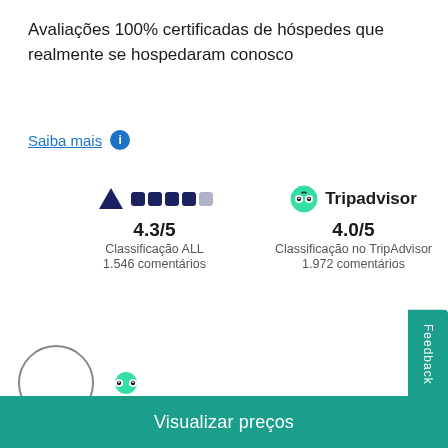Avaliações 100% certificadas de hóspedes que realmente se hospedaram conosco
Saiba mais
[Figure (logo): ALL (Accor Live Limitless) logo with dark triangle and dark squares showing 4.3/5 rating, 1.546 comentários]
[Figure (logo): Tripadvisor logo showing 4.0/5 rating, 1.972 comentários]
[Figure (illustration): User avatar circle placeholder with TripAdvisor small icon]
O9957WEandrewb    Friends getaway - 31/08/2022
Feedback
Visualizar preços